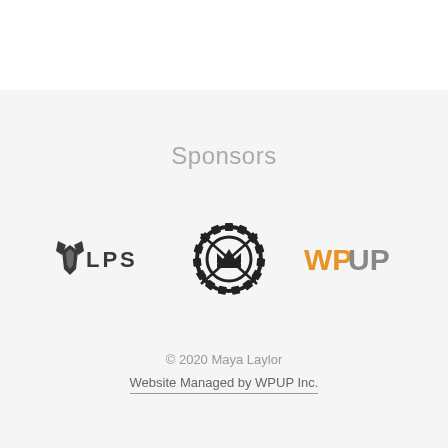Sponsors
[Figure (logo): Three sponsor logos: LPS (wolf icon + LPS text), a circular gear/crown badge logo, and WPUP (orange WP + gray UP text)]
© 2020 Maya Laylor
Website Managed by WPUP Inc.